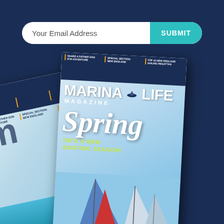[Figure (screenshot): Email subscription bar with placeholder 'Your Email Address' and a teal 'SUBMIT' button on the right, on a white pill-shaped background against dark navy background]
[Figure (photo): Two Marina Life Magazine covers displayed at angles on a dark navy background. The back cover is tilted left showing teaser headlines including 'CHARTER YACHT VACATIONS', 'SPECIAL SECTION: CRUISING THE CARIBBEAN', 'DISCOVER MEXICO'S BEST BEACHES', 'SHARE A FATHER SON ICW ADVENTURE', 'SPECIAL SECTION: NEW ENGLAND', 'TOP 10 NEW ENGLAND SAILING REGATTAS'. The front cover is tilted slightly right showing 'MARINA LIFE MAGAZINE' title with the word 'Spring' in large italic script and 'INTO A NEW BOATING SEASON!' in yellow-green text, with sailboats at the bottom.]